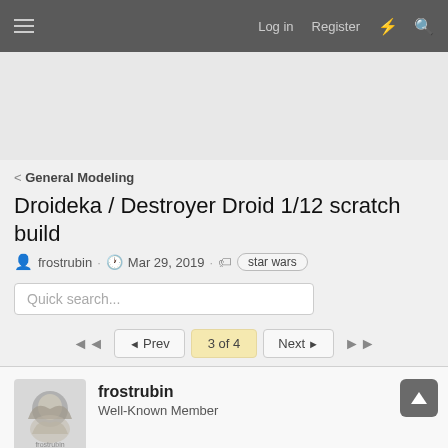Log in  Register
< General Modeling
Droideka / Destroyer Droid 1/12 scratch build
frostrubin · Mar 29, 2019 · star wars
Quick search...
◄ Prev  3 of 4  Next ►
frostrubin
Well-Known Member
Jun 14, 2019
#41